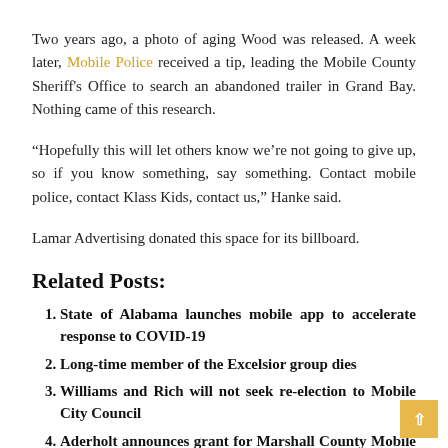Two years ago, a photo of aging Wood was released. A week later, Mobile Police received a tip, leading the Mobile County Sheriff's Office to search an abandoned trailer in Grand Bay. Nothing came of this research.
“Hopefully this will let others know we’re not going to give up, so if you know something, say something. Contact mobile police, contact Klass Kids, contact us,” Hanke said.
Lamar Advertising donated this space for its billboard.
Related Posts:
State of Alabama launches mobile app to accelerate response to COVID-19
Long-time member of the Excelsior group dies
Williams and Rich will not seek re-election to Mobile City Council
Aderholt announces grant for Marshall County Mobile Visitor Center